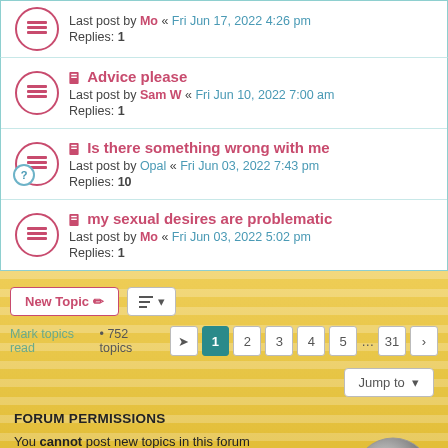Advice please — Last post by Sam W « Fri Jun 10, 2022 7:00 am — Replies: 1
Is there something wrong with me — Last post by Opal « Fri Jun 03, 2022 7:43 pm — Replies: 10
my sexual desires are problematic — Last post by Mo « Fri Jun 03, 2022 5:02 pm — Replies: 1
Mark topics read • 752 topics
FORUM PERMISSIONS
You cannot post new topics in this forum
You cannot reply to topics in this forum
You cannot edit your posts in this forum
You cannot delete your posts in this forum